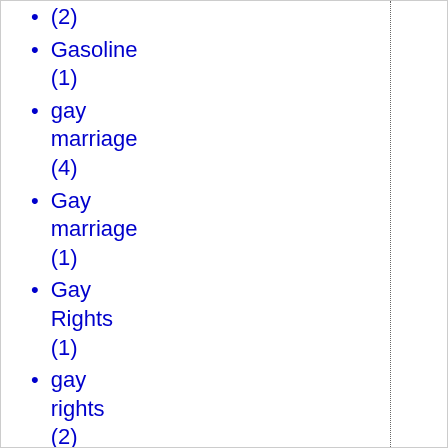(2)
Gasoline (1)
gay marriage (4)
Gay marriage (1)
Gay Rights (1)
gay rights (2)
Gaza (2)
GDP (1)
Geert Wilders (5)
Gelernter (1)
gender issues